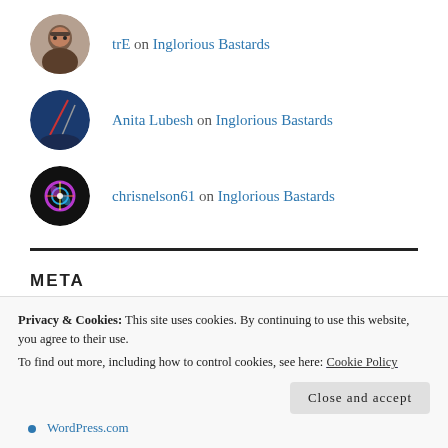trE on Inglorious Bastards
Anita Lubesh on Inglorious Bastards
chrisnelson61 on Inglorious Bastards
META
Register
WordPress.com
Privacy & Cookies: This site uses cookies. By continuing to use this website, you agree to their use.
To find out more, including how to control cookies, see here: Cookie Policy
Close and accept